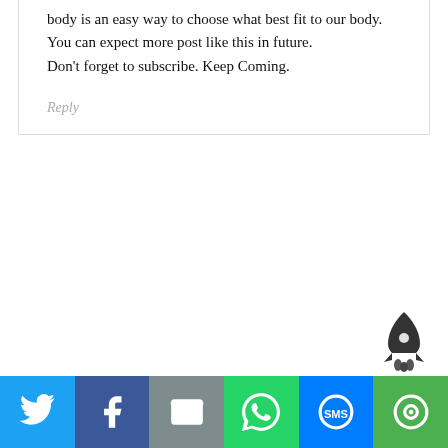body is an easy way to choose what best fit to our body. You can expect more post like this in future. Don't forget to subscribe. Keep Coming.
Reply
[Figure (illustration): Rocket icon (dark gray) in bottom right area above the share bar]
[Figure (infographic): Social share bar with six buttons: Twitter (blue), Facebook (dark blue), Email (gray), WhatsApp (green), SMS (blue), More (green) each with white icon]